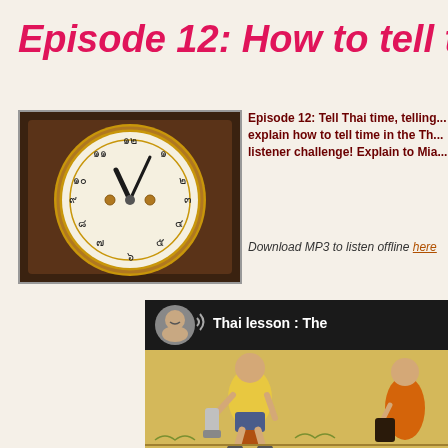Episode 12: How to tell tim
[Figure (photo): Antique clock face with Thai numerals on a wooden clock, brass hands and gold ring]
Episode 12: Tell Thai time, telling... explain how to tell time in the Th... listener challenge! Explain to Mia...
Download MP3 to listen offline here
[Figure (screenshot): Video thumbnail showing Thai lesson with a woman avatar, text 'Thai lesson : The', and illustrations of a person in yellow shirt holding cylinders and a monk figure]